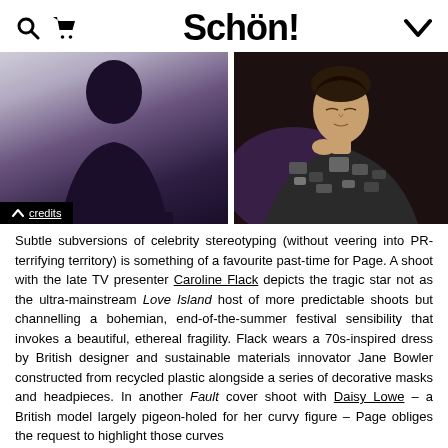Schön!
[Figure (photo): Left: Dark artistic silhouette photo of a person against a light grey background. A black credits bar at the bottom reads '^ credits'. Right: Photo of a young man in a dark patterned jacket with purple light, eyes closed, hand at collar.]
Subtle subversions of celebrity stereotyping (without veering into PR-terrifying territory) is something of a favourite past-time for Page. A shoot with the late TV presenter Caroline Flack depicts the tragic star not as the ultra-mainstream Love Island host of more predictable shoots but channelling a bohemian, end-of-the-summer festival sensibility that invokes a beautiful, ethereal fragility. Flack wears a 70s-inspired dress by British designer and sustainable materials innovator Jane Bowler constructed from recycled plastic alongside a series of decorative masks and headpieces. In another Fault cover shoot with Daisy Lowe – a British model largely pigeon-holed for her curvy figure – Page obliges the request to highlight those curves
share